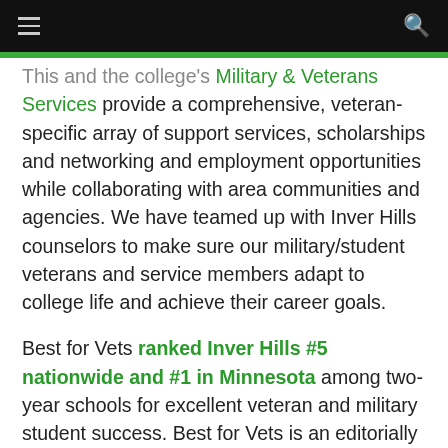navigation bar with hamburger menu and search icon
This and the college's Military & Veterans Services provide a comprehensive, veteran-specific array of support services, scholarships and networking and employment opportunities while collaborating with area communities and agencies. We have teamed up with Inver Hills counselors to make sure our military/student veterans and service members adapt to college life and achieve their career goals.
Best for Vets ranked Inver Hills #5 nationwide and #1 in Minnesota among two-year schools for excellent veteran and military student success. Best for Vets is an editorially independent news project that evaluates the many criteria that make an organization a good fit for service members, military...